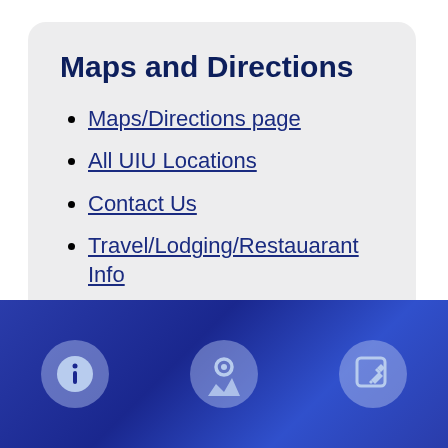Maps and Directions
Maps/Directions page
All UIU Locations
Contact Us
Travel/Lodging/Restauarant Info
Visit Campus
[Figure (infographic): Dark blue footer bar with three icon buttons: an info circle icon, a map/location icon, and an edit/pencil icon, rendered in light blue on dark blue background.]